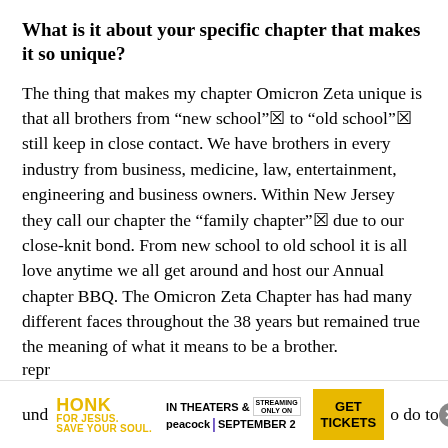What is it about your specific chapter that makes it so unique?
The thing that makes my chapter Omicron Zeta unique is that all brothers from “new school”☒ to “old school”☒ still keep in close contact. We have brothers in every industry from business, medicine, law, entertainment, engineering and business owners. Within New Jersey they call our chapter the “family chapter”☒ due to our close-knit bond. From new school to old school it is all love anytime we all get around and host our Annual chapter BBQ. The Omicron Zeta Chapter has had many different faces throughout the 38 years but remained true the meaning of what it means to be a brother.
We now live in a digital world, what do you think
[Figure (other): Advertisement bar for 'Honk for Jesus. Save Your Soul.' movie — showing IN THEATERS & STREAMING ONLY ON peacock | SEPTEMBER 2, GET TICKETS button, close button]